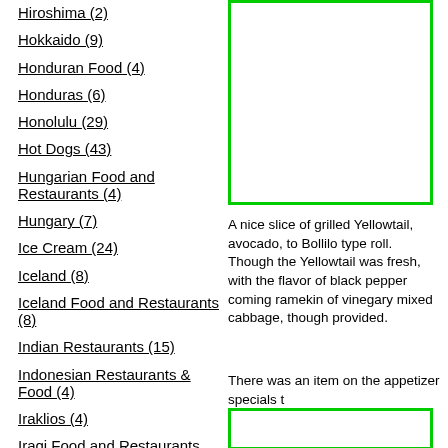Hiroshima (2)
Hokkaido (9)
Honduran Food (4)
Honduras (6)
Honolulu (29)
Hot Dogs (43)
Hungarian Food and Restaurants (4)
Hungary (7)
Ice Cream (24)
Iceland (8)
Iceland Food and Restaurants (8)
Indian Restaurants (15)
Indonesian Restaurants & Food (4)
Iraklios (4)
Iraqi Food and Restaurants (12)
Israel/Palestine (9)
Israeli Food (4)
Istanbul (12)
[Figure (photo): Green-bordered image box (top right), partially visible photo content]
A nice slice of grilled Yellowtail, avocado, to Bollilo type roll. Though the Yellowtail was fresh, with the flavor of black pepper coming ramekin of vinegary mixed cabbage, though provided.
There was an item on the appetizer specials t
[Figure (photo): Green-bordered image box (bottom right), partially visible]